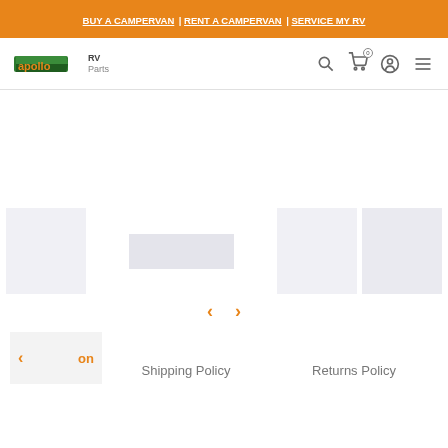BUY A CAMPERVAN | RENT A CAMPERVAN | SERVICE MY RV
[Figure (logo): Apollo RV Parts logo: green and orange stylized 'apollo' wordmark with 'RV Parts' text to the right]
[Figure (infographic): Navigation icons: search magnifier, shopping cart with 0 badge, user account circle, hamburger menu]
[Figure (infographic): Product image carousel with 4 placeholder gray/light blue boxes and left/right orange navigation arrows]
on
Shipping Policy
Returns Policy